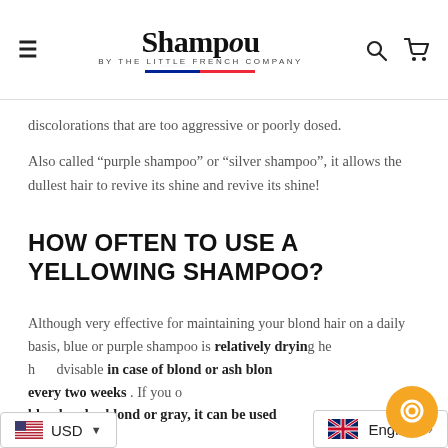Shampou BY THE LITTLE FRENCH COMPANY
discolorations that are too aggressive or poorly dosed.
Also called “purple shampoo” or “silver shampoo”, it allows the dullest hair to revive its shine and revive its shine!
HOW OFTEN TO USE A YELLOWING SHAMPOO?
Although very effective for maintaining your blond hair on a daily basis, blue or purple shampoo is relatively drying. be advisable in case of blond or ash blon every two weeks . If you o blond, polar blond or gray, it can be used